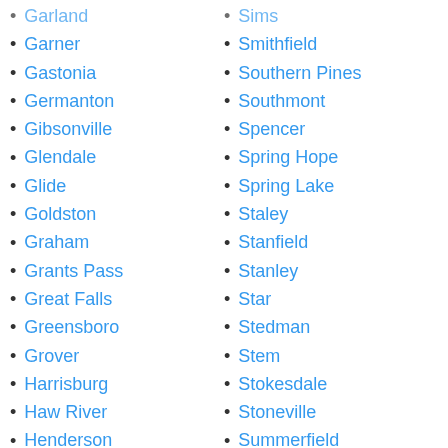Garland
Garner
Gastonia
Germanton
Gibsonville
Glendale
Glide
Goldston
Graham
Grants Pass
Great Falls
Greensboro
Grover
Harrisburg
Haw River
Henderson
Hickory Grove
High Point
High Shoals
Sims
Smithfield
Southern Pines
Southmont
Spencer
Spring Hope
Spring Lake
Staley
Stanfield
Stanley
Star
Stedman
Stem
Stokesdale
Stoneville
Summerfield
Sutherlin
Swepsonville
Tenmile
Thomasville